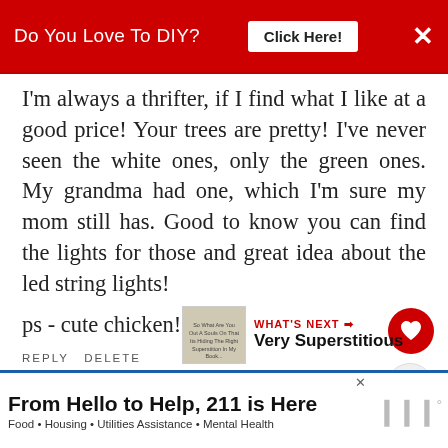Do You Love To DIY?  Click Here!  ×
I'm always a thrifter, if I find what I like at a good price! Your trees are pretty! I've never seen the white ones, only the green ones. My grandma had one, which I'm sure my mom still has. Good to know you can find the lights for those and great idea about the led string lights!
ps - cute chicken!
REPLY   DELETE
WHAT'S NEXT → Very Superstitious
From Hello to Help, 211 is Here  Food • Housing • Utilities Assistance • Mental Health